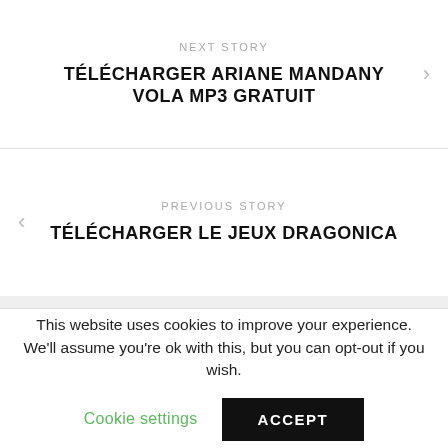NEXT STORY
TÉLÉCHARGER ARIANE MANDANY VOLA MP3 GRATUIT
PREVIOUS STORY
TÉLÉCHARGER LE JEUX DRAGONICA
[Figure (illustration): Decorative graphic area with white and blue curved swoosh shapes on a light gray background]
This website uses cookies to improve your experience. We'll assume you're ok with this, but you can opt-out if you wish.
Cookie settings
ACCEPT